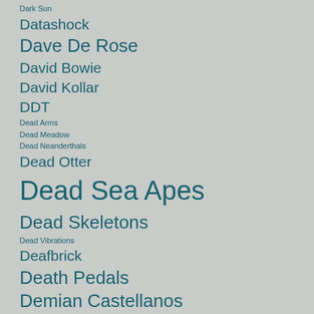Dark Sun
Datashock
Dave De Rose
David Bowie
David Kollar
DDT
Dead Arms
Dead Meadow
Dead Neanderthals
Dead Otter
Dead Sea Apes
Dead Skeletons
Dead Vibrations
Deafbrick
Death Pedals
Demian Castellanos
Desmadrados Soldados De Ventura
Destruction Unit